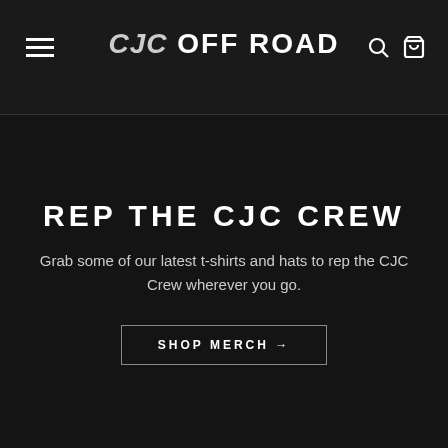CJC OFF ROAD
REP THE CJC CREW
Grab some of our latest t-shirts and hats to rep the CJC Crew wherever you go.
SHOP MERCH →